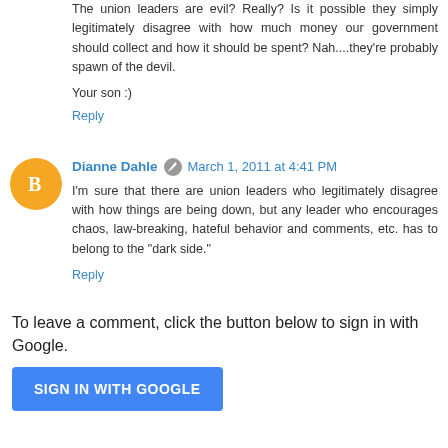The union leaders are evil? Really? Is it possible they simply legitimately disagree with how much money our government should collect and how it should be spent? Nah....they're probably spawn of the devil.
Your son :)
Reply
Dianne Dahle  March 1, 2011 at 4:41 PM
I'm sure that there are union leaders who legitimately disagree with how things are being down, but any leader who encourages chaos, law-breaking, hateful behavior and comments, etc. has to belong to the "dark side."
Reply
To leave a comment, click the button below to sign in with Google.
SIGN IN WITH GOOGLE